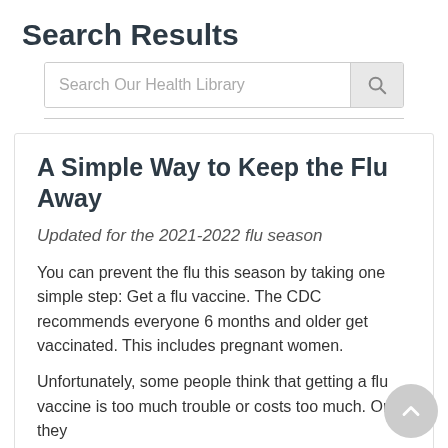Search Results
Search Our Health Library
A Simple Way to Keep the Flu Away
Updated for the 2021-2022 flu season
You can prevent the flu this season by taking one simple step: Get a flu vaccine. The CDC recommends everyone 6 months and older get vaccinated. This includes pregnant women.
Unfortunately, some people think that getting a flu vaccine is too much trouble or costs too much. Or they